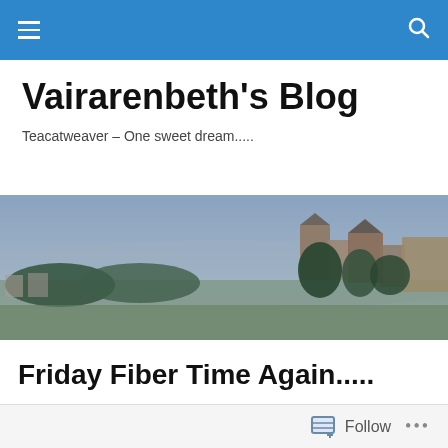Navigation bar with menu and search icons
Vairarenbeth's Blog
Teacatweaver – One sweet dream.....
[Figure (photo): Panoramic landscape photo showing a hilltop town with Mediterranean architecture, trees, and a wide valley in the background under a hazy blue sky.]
Friday Fiber Time Again.....
[Figure (photo): Close-up photo of a blue and white woven textile or fabric with decorative border pattern.]
Follow  •••